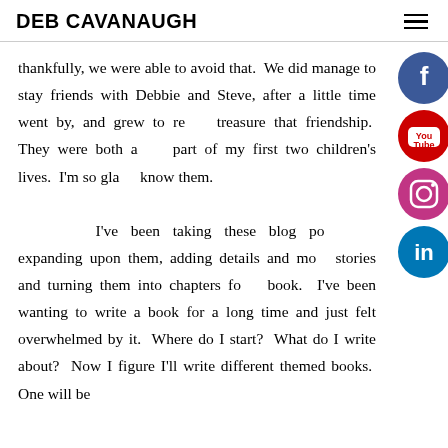DEB CAVANAUGH
thankfully, we were able to avoid that.  We did manage to stay friends with Debbie and Steve, after a little time went by, and grew to re[ally] treasure that friendship.  They were both a [big] part of my first two children's lives.  I'm so gla[d I] know them.

      I've been taking these blog po[sts and] expanding upon them, adding details and mo[re] stories and turning them into chapters fo[r a] book.  I've been wanting to write a book for a long time and just felt overwhelmed by it.  Where do I start?  What do I write about?  Now I figure I'll write different themed books.  One will be